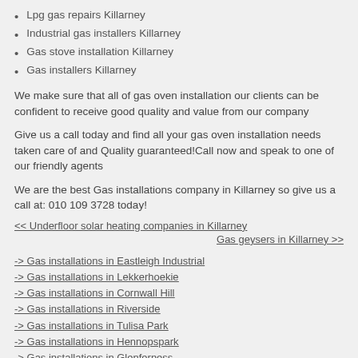Lpg gas repairs Killarney
Industrial gas installers Killarney
Gas stove installation Killarney
Gas installers Killarney
We make sure that all of gas oven installation our clients can be confident to receive good quality and value from our company
Give us a call today and find all your gas oven installation needs taken care of and Quality guaranteed!Call now and speak to one of our friendly agents
We are the best Gas installations company in Killarney so give us a call at: 010 109 3728 today!
<< Underfloor solar heating companies in Killarney
Gas geysers in Killarney >>
-> Gas installations in Eastleigh Industrial
-> Gas installations in Lekkerhoekie
-> Gas installations in Cornwall Hill
-> Gas installations in Riverside
-> Gas installations in Tulisa Park
-> Gas installations in Hennopspark
-> Gas installations in Glenferness
-> Gas installations in Rand Collieries
-> Gas installations in Agavia
-> Gas installations in Elma Park